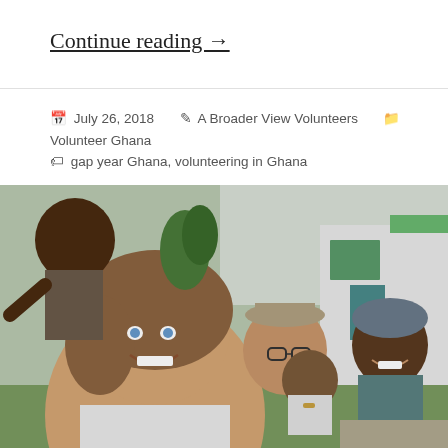Continue reading →
📅 July 26, 2018  👤 A Broader View Volunteers  🗂 Volunteer Ghana  🏷 gap year Ghana, volunteering in Ghana
[Figure (photo): Group selfie photo of two young female volunteers (one in foreground with curly hair and blue eyes smiling, one in background wearing hat and glasses) with local Ghanaian children outside a white building, outdoor setting in Ghana.]